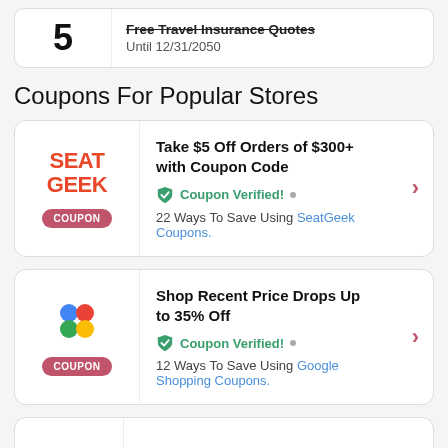5 - Free Travel Insurance Quotes - Until 12/31/2050
Coupons For Popular Stores
Take $5 Off Orders of $300+ with Coupon Code - Coupon Verified! - 22 Ways To Save Using SeatGeek Coupons.
Shop Recent Price Drops Up to 35% Off - Coupon Verified! - 12 Ways To Save Using Google Shopping Coupons.